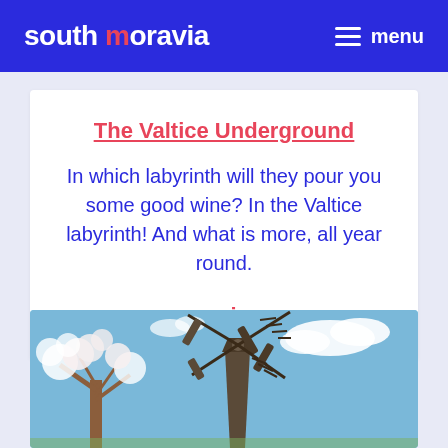south moravia  menu
The Valtice Underground
In which labyrinth will they pour you some good wine? In the Valtice labyrinth! And what is more, all year round.
→ view
[Figure (photo): Photograph of a traditional wooden windmill against a blue sky with white clouds, with a blossoming white tree to the left.]